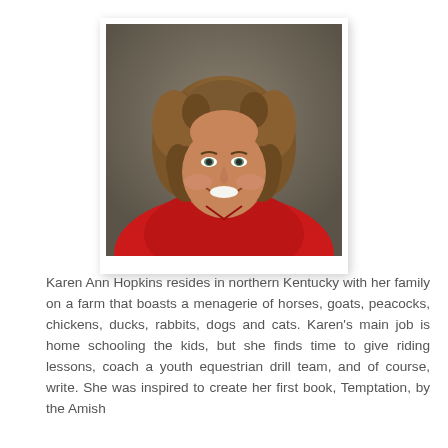[Figure (photo): Portrait photograph of Karen Ann Hopkins, a woman with curly brown hair wearing a red polo shirt, smiling, against a dark gray-brown background. Photo is presented in a Polaroid-style white frame with drop shadow.]
Karen Ann Hopkins resides in northern Kentucky with her family on a farm that boasts a menagerie of horses, goats, peacocks, chickens, ducks, rabbits, dogs and cats. Karen's main job is home schooling the kids, but she finds time to give riding lessons, coach a youth equestrian drill team, and of course, write. She was inspired to create her first book, Temptation, by the Amish